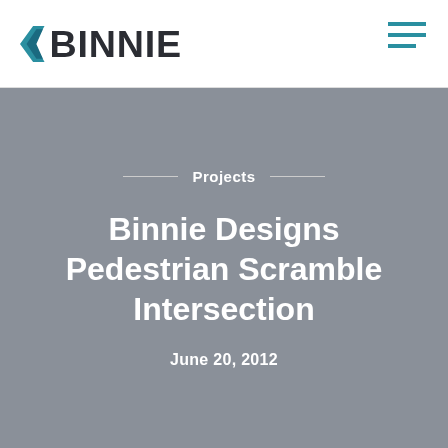[Figure (logo): Binnie company logo with blue arrow/chevron and bold dark text BINNIE]
[Figure (illustration): Hamburger menu icon with three horizontal teal/cyan lines]
Projects
Binnie Designs Pedestrian Scramble Intersection
June 20, 2012